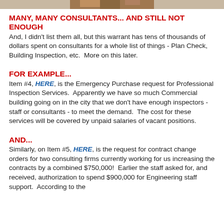[Figure (photo): Partial photo strip at top of page, appears to be a person or scene, cropped.]
MANY, MANY CONSULTANTS... AND STILL NOT ENOUGH
And, I didn't list them all, but this warrant has tens of thousands of dollars spent on consultants for a whole list of things - Plan Check, Building Inspection, etc.  More on this later.
FOR EXAMPLE...
Item #4, HERE, is the Emergency Purchase request for Professional Inspection Services.  Apparently we have so much Commercial building going on in the city that we don't have enough inspectors - staff or consultants - to meet the demand.  The cost for these services will be covered by unpaid salaries of vacant positions.
AND...
Similarly, on Item #5, HERE, is the request for contract change orders for two consulting firms currently working for us increasing the contracts by a combined $750,000!  Earlier the staff asked for, and received, authorization to spend $900,000 for Engineering staff support.  According to the